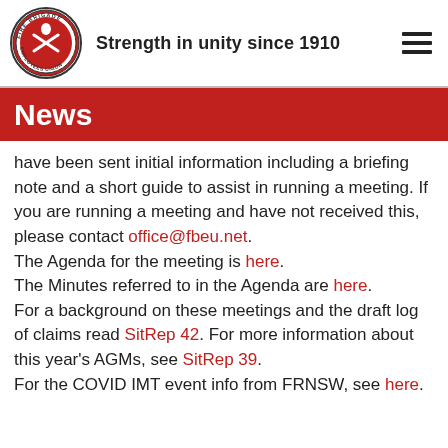Strength in unity since 1910
News
have been sent initial information including a briefing note and a short guide to assist in running a meeting. If you are running a meeting and have not received this, please contact office@fbeu.net.
The Agenda for the meeting is here.
The Minutes referred to in the Agenda are here.
For a background on these meetings and the draft log of claims read SitRep 42. For more information about this year's AGMs, see SitRep 39.
For the COVID IMT event info from FRNSW, see here.